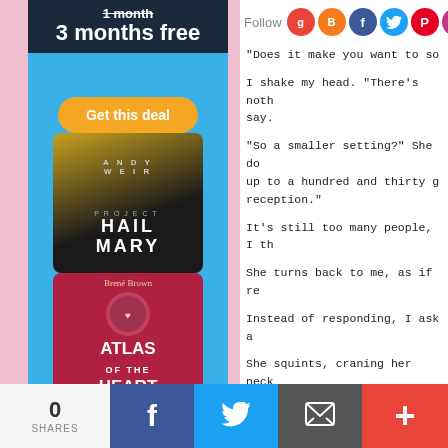[Figure (screenshot): Advertisement banner: '1 month' strikethrough, '3 months free' in white on dark background]
[Figure (screenshot): Orange 'Get this deal' button]
[Figure (photo): Book cover: Andy Weir - Project Hail Mary]
[Figure (photo): Book cover: Brené Brown - Atlas of the Heart]
[Figure (photo): Book cover: Lucy Foley (partially visible)]
[Figure (screenshot): Social follow bar with icons: Goodreads, Blogger, Facebook, Twitter, Pinterest, Instagram]
“Does it make you want to so
I shake my head. “There’s noth say.
“So a smaller setting?” She do up to a hundred and thirty g reception.”
It’s still too many people, I th
She turns back to me, as if re
Instead of responding, I ask a
She squints, craning her neck
“I don’t know if this is the pla
0 SHARES
[Figure (screenshot): Bottom share bar with Facebook, Twitter, email, and plus buttons]